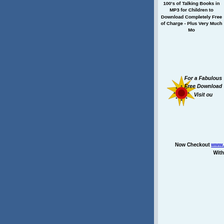100's of Talking Books in MP3 for Children to Download Completely Free of Charge - Plus Very Much More
[Figure (illustration): A decorative star/sunburst icon with yellow and red colors]
For a Fabulous Free Download Visit our
Now Checkout www. ... With ...
[Figure (logo): SafeSurf Rated badge - a certification logo with wavy lines and text]
[Figure (logo): Sites for Teachers button - dark blue rectangular badge with white text]